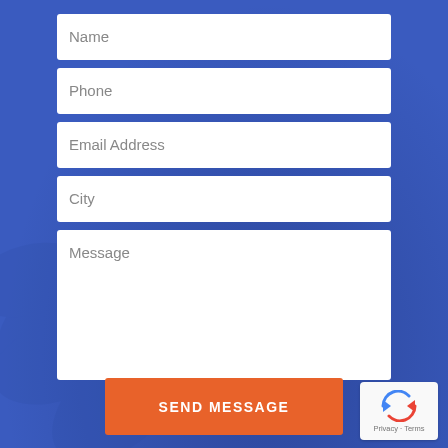[Figure (screenshot): Blue background with decorative leaf/plant watermark pattern]
Name
Phone
Email Address
City
Message
SEND MESSAGE
[Figure (logo): reCAPTCHA widget with circular arrows icon, Privacy · Terms text]